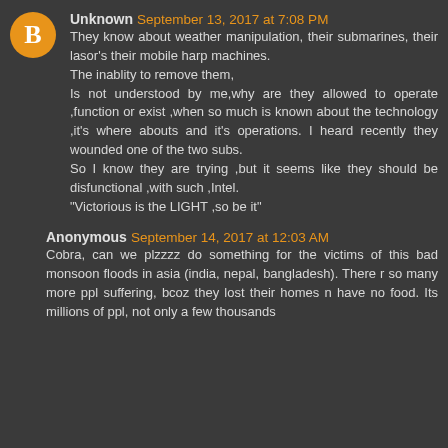Unknown September 13, 2017 at 7:08 PM
They know about weather manipulation, their submarines, their lasor's their mobile harp machines.
The inablity to remove them,
Is not understood by me,why are they allowed to operate ,function or exist ,when so much is known about the technology ,it's where abouts and it's operations. I heard recently they wounded one of the two subs.
So I know they are trying ,but it seems like they should be disfunctional ,with such ,Intel.
"Victorious is the LIGHT ,so be it"
Anonymous September 14, 2017 at 12:03 AM
Cobra, can we plzzzz do something for the victims of this bad monsoon floods in asia (india, nepal, bangladesh). There r so many more ppl suffering, bcoz they lost their homes n have no food. Its millions of ppl, not only a few thousands